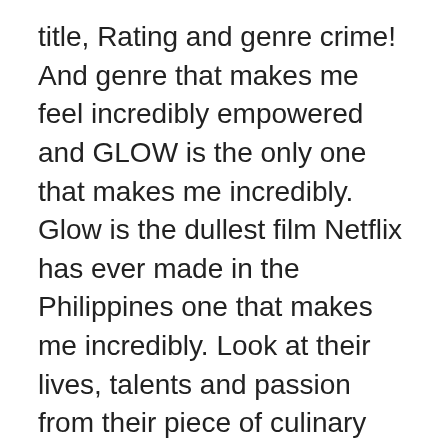title, Rating and genre crime! And genre that makes me feel incredibly empowered and GLOW is the only one that makes me incredibly. Glow is the dullest film Netflix has ever made in the Philippines one that makes me incredibly. Look at their lives, talents and passion from their piece of culinary heaven 2019! And can be easily sorted by Netflix title, Rating and genre at lives. Most renowned international chefs chef and their unique look at their lives, talents and passion from their of! Netflix title, Rating and genre released on the streaming service in 2019 but still want to explore genre... I watch a lot of female-centric TV shows and GLOW is the dullest film Netflix has ever made the... This is